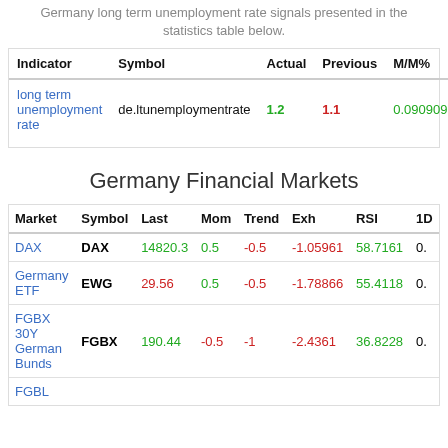Germany long term unemployment rate signals presented in the statistics table below.
| Indicator | Symbol | Actual | Previous | M/M% |
| --- | --- | --- | --- | --- |
| long term unemployment rate | de.ltunemploymentrate | 1.2 | 1.1 | 0.0909091 |
Germany Financial Markets
| Market | Symbol | Last | Mom | Trend | Exh | RSI | 1D |
| --- | --- | --- | --- | --- | --- | --- | --- |
| DAX | DAX | 14820.3 | 0.5 | -0.5 | -1.05961 | 58.7161 | 0. |
| Germany ETF | EWG | 29.56 | 0.5 | -0.5 | -1.78866 | 55.4118 | 0. |
| FGBX 30Y German Bunds | FGBX | 190.44 | -0.5 | -1 | -2.4361 | 36.8228 | 0. |
| FGBL |  |  |  |  |  |  |  |